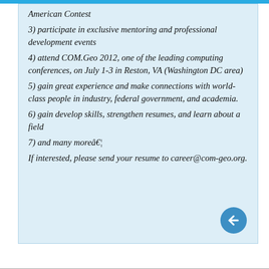American Contest
3) participate in exclusive mentoring and professional development events
4) attend COM.Geo 2012, one of the leading computing conferences, on July 1-3 in Reston, VA (Washington DC area)
5) gain great experience and make connections with world-class people in industry, federal government, and academia.
6) gain develop skills, strengthen resumes, and learn about a field
7) and many moreâ€¦
If interested, please send your resume to career@com-geo.org.